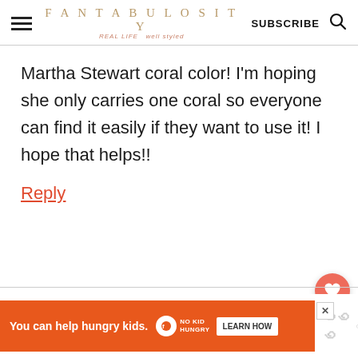FANTABULOSITY — REAL LIFE well styled — SUBSCRIBE
Martha Stewart coral color! I'm hoping she only carries one coral so everyone can find it easily if they want to use it! I hope that helps!!
Reply
[Figure (screenshot): Floating heart (like/save) button — salmon/coral circle with white heart icon]
[Figure (screenshot): Floating share button — white circle with share icon]
[Figure (screenshot): Ad banner: 'You can help hungry kids. No Kid Hungry. LEARN HOW']